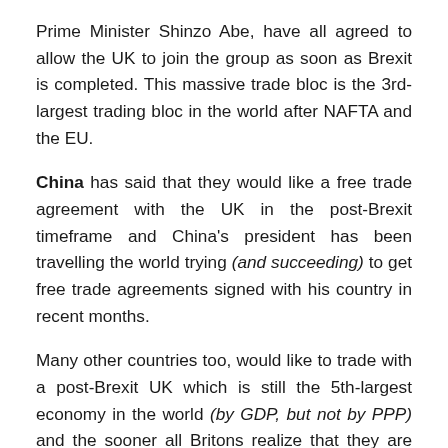Prime Minister Shinzo Abe, have all agreed to allow the UK to join the group as soon as Brexit is completed. This massive trade bloc is the 3rd-largest trading bloc in the world after NAFTA and the EU.
China has said that they would like a free trade agreement with the UK in the post-Brexit timeframe and China's president has been travelling the world trying (and succeeding) to get free trade agreements signed with his country in recent months.
Many other countries too, would like to trade with a post-Brexit UK which is still the 5th-largest economy in the world (by GDP, but not by PPP) and the sooner all Britons realize that they are the 5th-largest economy in the world, the better. Because it seems that some Britons think they're the 120th-largest economy in the world and act